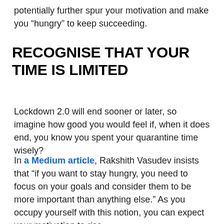potentially further spur your motivation and make you “hungry” to keep succeeding.
RECOGNISE THAT YOUR TIME IS LIMITED
Lockdown 2.0 will end sooner or later, so imagine how good you would feel if, when it does end, you know you spent your quarantine time wisely?
In a Medium article, Rakshith Vasudev insists that “if you want to stay hungry, you need to focus on your goals and consider them to be more important than anything else.” As you occupy yourself with this notion, you can expect your motivation to rise.
HIRE AN EXPERT PERSONAL TRAINER
Whilst the...